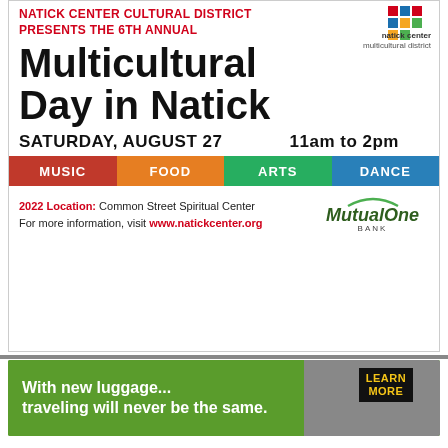NATICK CENTER CULTURAL DISTRICT PRESENTS THE 6TH ANNUAL
Multicultural Day in Natick
SATURDAY, AUGUST 27   11am to 2pm
[Figure (infographic): Color bar with four segments: MUSIC (red), FOOD (orange), ARTS (green), DANCE (blue)]
2022 Location: Common Street Spiritual Center
For more information, visit www.natickcenter.org
[Figure (logo): MutualOne Bank logo]
[Figure (infographic): Green advertisement banner: 'With new luggage... traveling will never be the same.' with LEARN MORE button and luggage photo]